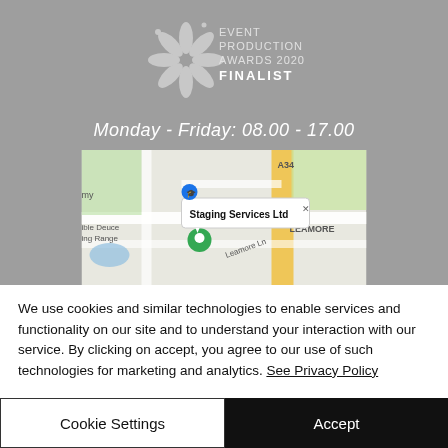[Figure (logo): Event Production Awards 2020 Finalist logo with starburst/flower graphic on grey background]
Monday - Friday: 08.00 - 17.00
[Figure (map): Google Maps screenshot showing location of Staging Services Ltd near Leamore Lane, with green map pin and info popup]
We use cookies and similar technologies to enable services and functionality on our site and to understand your interaction with our service. By clicking on accept, you agree to our use of such technologies for marketing and analytics. See Privacy Policy